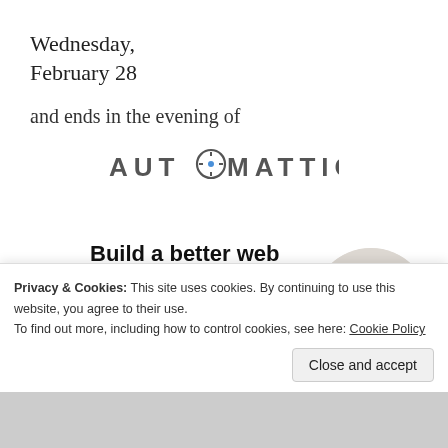Wednesday,
February 28
and ends in the evening of
[Figure (logo): Automattic logo in grey uppercase letters with compass icon replacing the O]
Build a better web
and a better world.
[Figure (photo): Circular portrait photo of a man with glasses looking upward]
Privacy & Cookies: This site uses cookies. By continuing to use this website, you agree to their use.
To find out more, including how to control cookies, see here: Cookie Policy
Close and accept